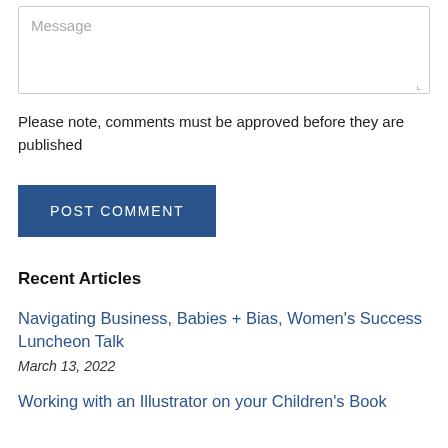[Figure (screenshot): A textarea input box with placeholder text 'Message' and a resize handle in the bottom-right corner]
Please note, comments must be approved before they are published
POST COMMENT
Recent Articles
Navigating Business, Babies + Bias, Women's Success Luncheon Talk
March 13, 2022
Working with an Illustrator on your Children's Book